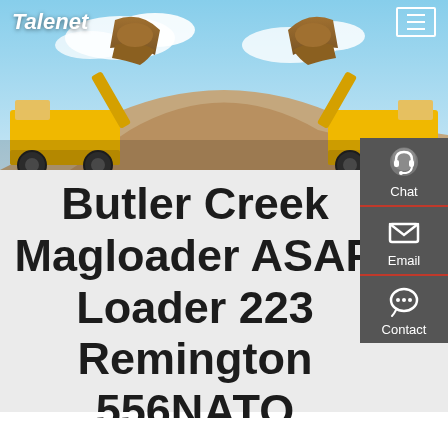Talenet
[Figure (photo): Two large yellow wheel loaders facing each other with raised buckets full of dirt, against a blue sky background, outdoor construction/mining setting.]
Butler Creek Magloader ASAP Loader 223 Remington 556NATO
[Figure (infographic): Dark grey side panel with three items: Chat (headset icon), Email (envelope icon), Contact (speech bubble with dots icon), each separated by a red underline.]